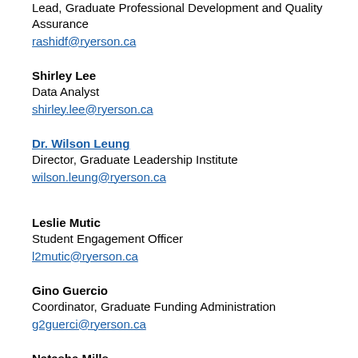Lead, Graduate Professional Development and Quality Assurance
rashidf@ryerson.ca
Shirley Lee
Data Analyst
shirley.lee@ryerson.ca
Dr. Wilson Leung
Director, Graduate Leadership Institute
wilson.leung@ryerson.ca
Leslie Mutic
Student Engagement Officer
l2mutic@ryerson.ca
Gino Guercio
Coordinator, Graduate Funding Administration
g2guerci@ryerson.ca
Natasha Mills